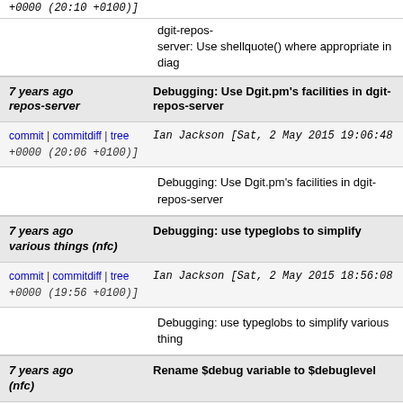+0000 (20:10 +0100)]
dgit-repos-server: Use shellquote() where appropriate in diag
7 years ago repos-server | Debugging: Use Dgit.pm's facilities in dgit-repos-server
commit | commitdiff | tree   Ian Jackson [Sat, 2 May 2015 19:06:48 +0000 (20:06 +0100)]
Debugging: Use Dgit.pm's facilities in dgit-repos-server
7 years ago various things (nfc) | Debugging: use typeglobs to simplify
commit | commitdiff | tree   Ian Jackson [Sat, 2 May 2015 18:56:08 +0000 (19:56 +0100)]
Debugging: use typeglobs to simplify various thing
7 years ago (nfc) | Rename $debug variable to $debuglevel
commit | commitdiff | tree   Ian Jackson [Sat, 2 May 2015 18:28:54 +0000 (19:28 +0100)]
Rename $debug variable to $debuglevel (nfc)